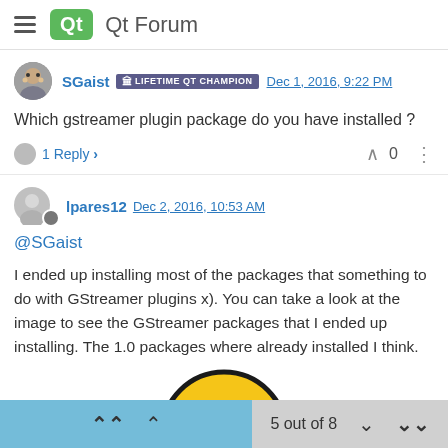Qt Forum
SGaist  LIFETIME QT CHAMPION  Dec 1, 2016, 9:22 PM
Which gstreamer plugin package do you have installed ?
1 Reply >   0
lpares12  Dec 2, 2016, 10:53 AM
@SGaist
I ended up installing most of the packages that something to do with GStreamer plugins x). You can take a look at the image to see the GStreamer packages that I ended up installing. The 1.0 packages where already installed I think.
[Figure (illustration): Crying smiley face emoji - yellow circle with crying eyes]
5 out of 8